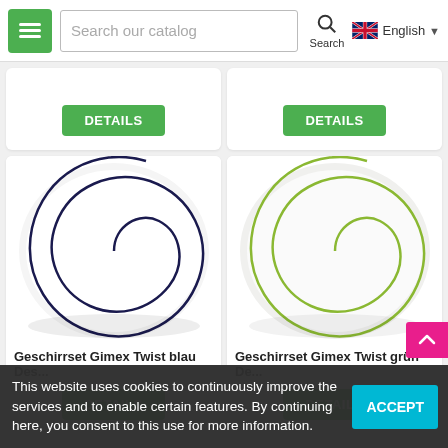Search our catalog | Search | English
[Figure (screenshot): Partial product card with green DETAILS button (top-left)]
[Figure (screenshot): Partial product card with green DETAILS button (top-right)]
[Figure (photo): White ceramic plate with dark blue spiral pattern - Geschirrset Gimex Twist blau]
Geschirrset Gimex Twist blau Des...
[Figure (photo): White ceramic plate with green spiral pattern - Geschirrset Gimex Twist grün]
Geschirrset Gimex Twist grün De...
DETAILS
DETAILS
This website uses cookies to continuously improve the services and to enable certain features. By continuing here, you consent to this use for more information.
ACCEPT